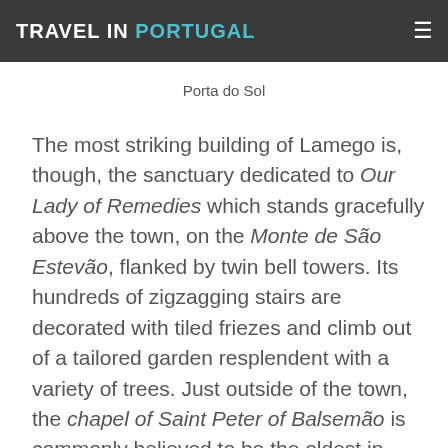TRAVEL IN PORTUGAL
Porta do Sol
The most striking building of Lamego is, though, the sanctuary dedicated to Our Lady of Remedies which stands gracefully above the town, on the Monte de São Estevão, flanked by twin bell towers. Its hundreds of zigzagging stairs are decorated with tiled friezes and climb out of a tailored garden resplendent with a variety of trees. Just outside of the town, the chapel of Saint Peter of Balsemão is commonly believed to be the oldest in Portugal if not in Europe and is a